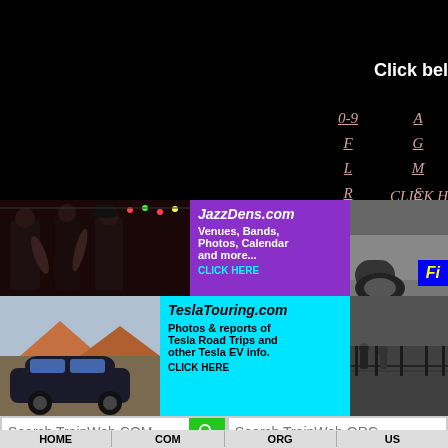Click bel
0-9
A
F
G
L
M
R
S
X
Y
CLICK H
[Figure (photo): Jazz musicians playing saxophone on stage]
[Figure (infographic): JazzDens.com advertisement - Venues, Bands, Photos, Calendar and more... CLICK HERE]
[Figure (photo): Car rear view photo with Fi badge overlay]
[Figure (photo): Tesla car with desert mountain backdrop]
[Figure (infographic): TeslaTouring.com advertisement - Photos & reports of Tesla Road Trips and other Tesla EV info. CLICK HERE]
[Figure (photo): Black and white war/historical photo]
Search TrainWeb.COM
Search TrainWeb.ORG
HOME
COM
ORG
US